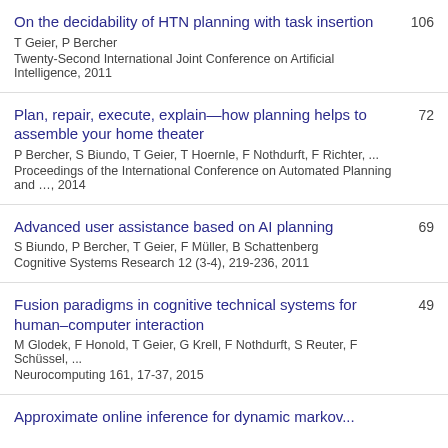On the decidability of HTN planning with task insertion | T Geier, P Bercher | Twenty-Second International Joint Conference on Artificial Intelligence, 2011 | 106
Plan, repair, execute, explain—how planning helps to assemble your home theater | P Bercher, S Biundo, T Geier, T Hoernle, F Nothdurft, F Richter, ... | Proceedings of the International Conference on Automated Planning and …, 2014 | 72
Advanced user assistance based on AI planning | S Biundo, P Bercher, T Geier, F Müller, B Schattenberg | Cognitive Systems Research 12 (3-4), 219-236, 2011 | 69
Fusion paradigms in cognitive technical systems for human–computer interaction | M Glodek, F Honold, T Geier, G Krell, F Nothdurft, S Reuter, F Schüssel, ... | Neurocomputing 161, 17-37, 2015 | 49
Approximate online inference for dynamic markov...